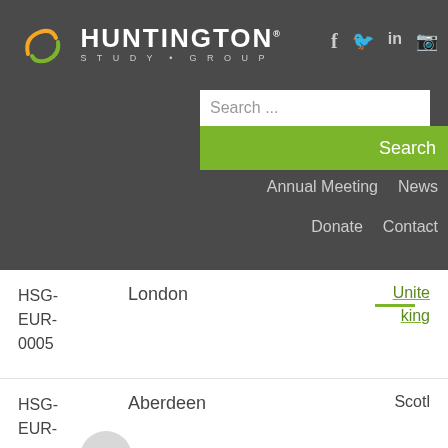[Figure (logo): Huntington Study Group logo with orange/green swirl icon and white text]
f  ☞  in  ⊡
Search ...
Search
Annual Meeting   News
Donate   Contact
| ID | City | Country |
| --- | --- | --- |
| HSG-EUR-0005 | London | United Kingdom |
| HSG-EUR-0006 | Aberdeen | Scotland |
| HSG- | Ulm | Germ |